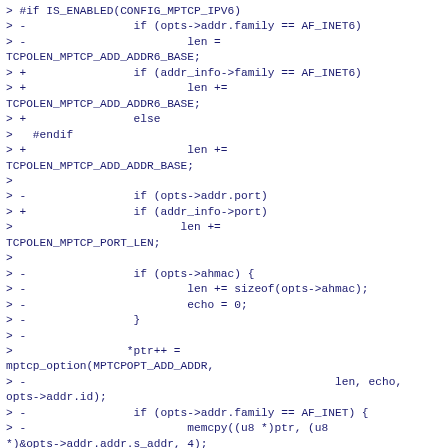> #if IS_ENABLED(CONFIG_MPTCP_IPV6)
> -                if (opts->addr.family == AF_INET6)
> -                        len =
TCPOLEN_MPTCP_ADD_ADDR6_BASE;
> +                if (addr_info->family == AF_INET6)
> +                        len +=
TCPOLEN_MPTCP_ADD_ADDR6_BASE;
> +                else
>   #endif
> +                        len +=
TCPOLEN_MPTCP_ADD_ADDR_BASE;
>
> -                if (opts->addr.port)
> +                if (addr_info->port)
>                         len +=
TCPOLEN_MPTCP_PORT_LEN;
>
> -                if (opts->ahmac) {
> -                        len += sizeof(opts->ahmac);
> -                        echo = 0;
> -                }
> -
>                 *ptr++ =
mptcp_option(MPTCPOPT_ADD_ADDR,
> -                                              len, echo,
opts->addr.id);
> -                if (opts->addr.family == AF_INET) {
> -                        memcpy((u8 *)ptr, (u8
*)&opts->addr.addr.s_addr, 4);
> +                                              len, echo,